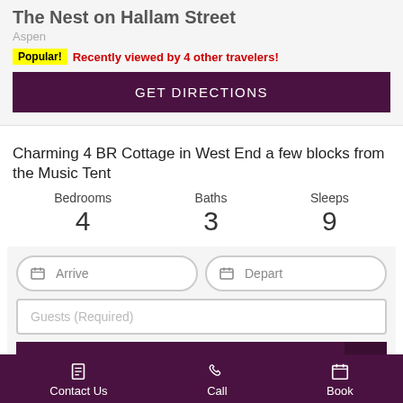The Nest on Hallam Street
Aspen
Popular! Recently viewed by 4 other travelers!
GET DIRECTIONS
Charming 4 BR Cottage in West End a few blocks from the Music Tent
Bedrooms 4 Baths 3 Sleeps 9
Arrive
Depart
Guests (Required)
GET AN INSTANT QUOTE
Contact Us  Call  Book